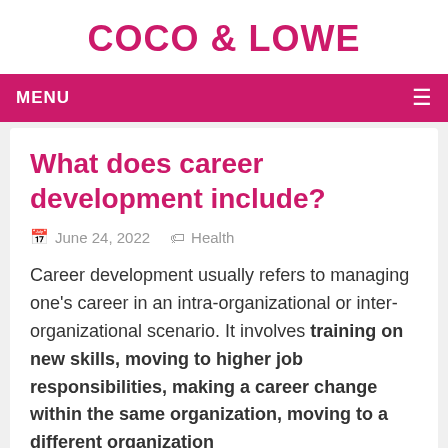COCO & LOWE
MENU ≡
What does career development include?
June 24, 2022   Health
Career development usually refers to managing one's career in an intra-organizational or inter-organizational scenario. It involves training on new skills, moving to higher job responsibilities, making a career change within the same organization, moving to a different organization